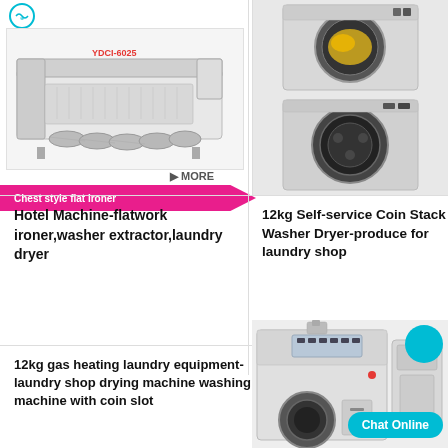[Figure (photo): Logo with circular emblem and text CEWCELL at top left]
[Figure (photo): Industrial flat ironer machine YDCI-6025, white/grey color, with multiple rollers]
MORE
Chest style flat ironer
[Figure (photo): 12kg self-service coin stack washer dryer unit, stainless steel, stacked configuration]
Hotel Machine-flatwork ironer,washer extractor,laundry dryer
12kg Self-service Coin Stack Washer Dryer-produce for laundry shop
12kg gas heating laundry equipment-laundry shop drying machine washing machine with coin slot
[Figure (photo): 12kg gas heating laundry machine, white cabinet with control panel and coin slot]
Chat Online